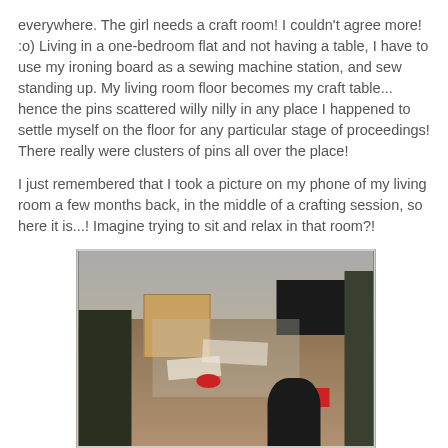everywhere.  The girl needs a craft room!  I couldn't agree more!  :o)  Living in a one-bedroom flat and not having a table, I have to use my ironing board as a sewing machine station, and sew standing up.  My living room floor becomes my craft table... hence the pins scattered willy nilly in any place I happened to settle myself on the floor for any particular stage of proceedings!  There really were clusters of pins all over the place!

I just remembered that I took a picture on my phone of my living room a few months back, in the middle of a crafting session, so here it is...!  Imagine trying to sit and relax in that room?!
[Figure (photo): A cluttered living room floor covered in craft materials, papers, fabric, and small objects scattered everywhere. A wooden table/cabinet is visible in the background along with a TV unit. A person's legs are visible sitting on the floor among the mess. Items in pink/red are scattered across the floor.]